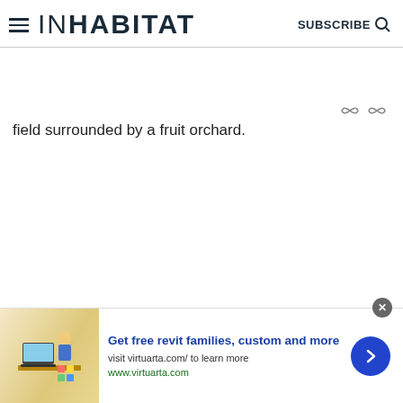INHABITAT  SUBSCRIBE
field surrounded by a fruit orchard.
[Figure (screenshot): Advertisement banner for Virtuarta: 'Get free revit families, custom and more' with image of person at desk with colorful sticky notes]
Get free revit families, custom and more
visit virtuarta.com/ to learn more
www.virtuarta.com